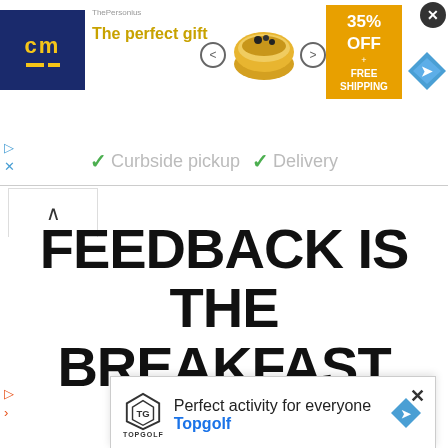[Figure (screenshot): Top advertisement banner: CM logo, 'The perfect gift' text in gold, bowl image, navigation arrows, 35% OFF + FREE SHIPPING box in orange, checkmarks with 'Curbside pickup' and 'Delivery' in light gray, close button, blue diamond arrow, and play/X icons on left side.]
[Figure (screenshot): Chevron up button in top-left below the ad banner.]
FEEDBACK IS THE BREAKFAST OF CHAMPIONS
KEN BLANCHARD
[Figure (screenshot): Bottom popup ad for Topgolf: Topgolf logo/shield icon, 'Perfect activity for everyone' text, 'Topgolf' in blue, blue diamond arrow, close X button, play/X icons on left.]